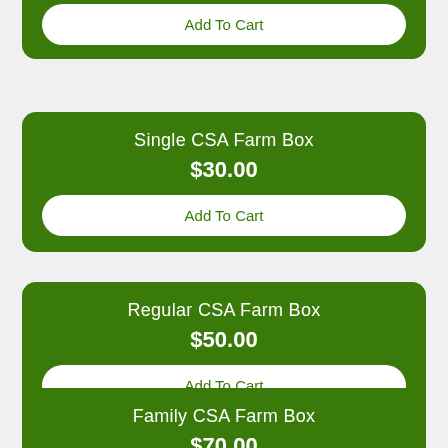Add To Cart
Single CSA Farm Box
$30.00
Add To Cart
Regular CSA Farm Box
$50.00
Add To Cart
Family CSA Farm Box
$70.00
Add To Cart